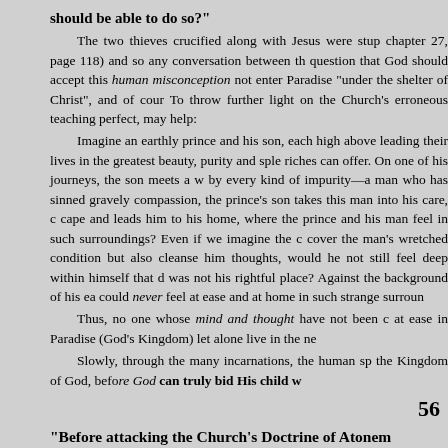should be able to do so?"
The two thieves crucified along with Jesus were stu... chapter 27, page 118) and so any conversation between th... question that God should accept this human misconception... not enter Paradise “under the shelter of Christ”, and of cour... To throw further light on the Church’s erroneous teaching ... perfect, may help:
Imagine an earthly prince and his son, each high above... leading their lives in the greatest beauty, purity and sple... riches can offer. On one of his journeys, the son meets a w... by every kind of impurity—a man who has sinned gravely... compassion, the prince’s son takes this man into his care, c... cape and leads him to his home, where the prince and his... man feel in such surroundings? Even if we imagine the c... cover the man’s wretched condition but also cleanse him ... thoughts, would he not still feel deep within himself that d... was not his rightful place? Against the background of his ea... could never feel at ease and at home in such strange surroun...
Thus, no one whose mind and thought have not been c... at ease in Paradise (God’s Kingdom) let alone live in the ne...
Slowly, through the many incarnations, the human sp... the Kingdom of God, before God can truly bid His child w...
56
“Before attacking the Church’s Doctrine of Atonem... merits?”⁵⁰
In the Doctrine of Atonement and the Shorter Road, Pa...